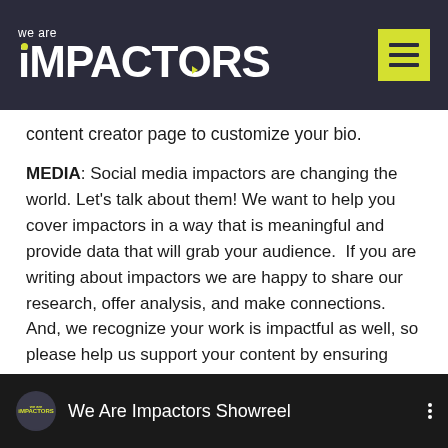we are IMPACTORS
content creator page to customize your bio.
MEDIA: Social media impactors are changing the world. Let's talk about them! We want to help you cover impactors in a way that is meaningful and provide data that will grab your audience. If you are writing about impactors we are happy to share our research, offer analysis, and make connections. And, we recognize your work is impactful as well, so please help us support your content by ensuring your profile is in our system and your best content is connected.
[Figure (screenshot): Video thumbnail showing 'We Are Impactors Showreel' with Impactors logo and three-dot menu icon on dark background]